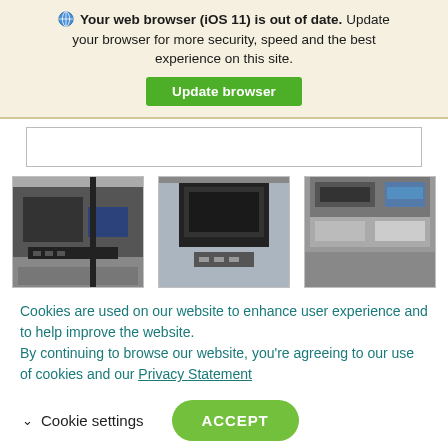🌐 Your web browser (iOS 11) is out of date. Update your browser for more security, speed and the best experience on this site.
Update browser
[Figure (photo): Partial gray rectangle, top of a content box]
[Figure (photo): Three product photos side by side showing card processing or payment machine equipment]
Cookies are used on our website to enhance user experience and to help improve the website. By continuing to browse our website, you're agreeing to our use of cookies and our Privacy Statement
Cookie settings
ACCEPT